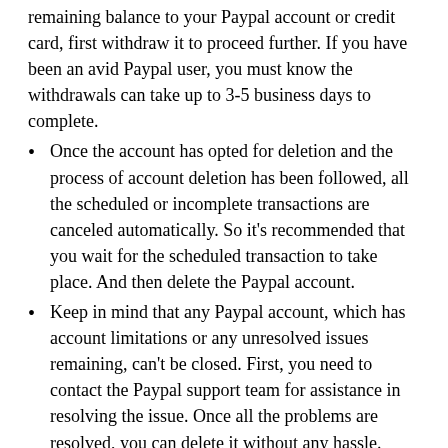remaining balance to your Paypal account or credit card, first withdraw it to proceed further. If you have been an avid Paypal user, you must know the withdrawals can take up to 3-5 business days to complete.
Once the account has opted for deletion and the process of account deletion has been followed, all the scheduled or incomplete transactions are canceled automatically. So it’s recommended that you wait for the scheduled transaction to take place. And then delete the Paypal account.
Keep in mind that any Paypal account, which has account limitations or any unresolved issues remaining, can’t be closed. First, you need to contact the Paypal support team for assistance in resolving the issue. Once all the problems are resolved, you can delete it without any hassle.
Always remember, once the Paypal account is